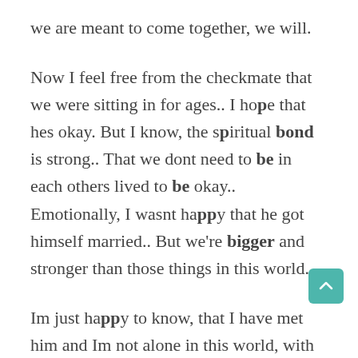we are meant to come together, we will.
Now I feel free from the checkmate that we were sitting in for ages.. I hope that hes okay. But I know, the spiritual bond is strong.. That we dont need to be in each others lived to be okay.. Emotionally, I wasnt happy that he got himself married.. But we're bigger and stronger than those things in this world..
Im just happy to know, that I have met him and Im not alone in this world, with my TF here too.. To know that, is enough to keep me happy in this life.. We came fr different countries, to cr paths like we should have.. I know we will see